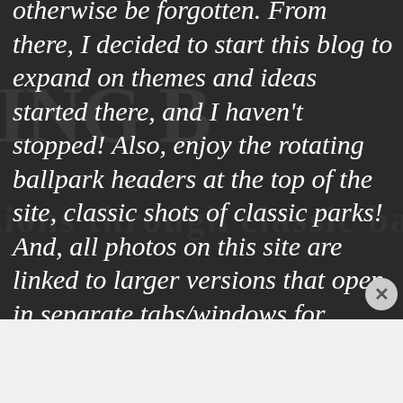otherwise be forgotten. From there, I decided to start this blog to expand on themes and ideas started there, and I haven't stopped! Also, enjoy the rotating ballpark headers at the top of the site, classic shots of classic parks! And, all photos on this site are linked to larger versions that open in separate tabs/windows for closer viewing. Anyway, have fun and feel free to respond to anything here! ~ Tom Conmy (alpineinc)
Advertisements
[Figure (other): DuckDuckGo advertisement banner: orange left panel with 'Search, browse, and email with more privacy. All in One Free App' and dark right panel with DuckDuckGo logo]